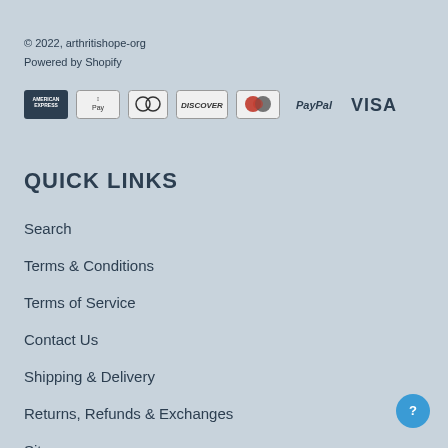© 2022, arthritishope-org
Powered by Shopify
[Figure (logo): Payment method icons: American Express, Apple Pay, Diners Club, Discover, Mastercard, PayPal, Visa]
QUICK LINKS
Search
Terms & Conditions
Terms of Service
Contact Us
Shipping & Delivery
Returns, Refunds & Exchanges
Sitemap
Track Order